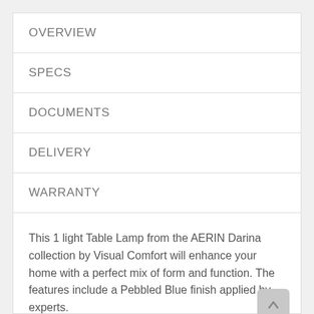OVERVIEW
SPECS
DOCUMENTS
DELIVERY
WARRANTY
This 1 light Table Lamp from the AERIN Darina collection by Visual Comfort will enhance your home with a perfect mix of form and function. The features include a Pebbled Blue finish applied by experts.